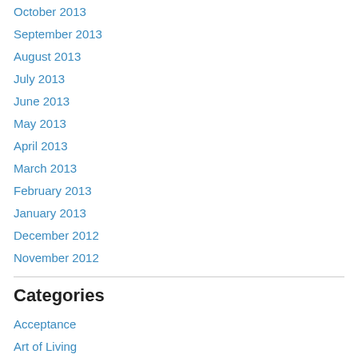October 2013
September 2013
August 2013
July 2013
June 2013
May 2013
April 2013
March 2013
February 2013
January 2013
December 2012
November 2012
Categories
Acceptance
Art of Living
AVIS on Happyness
AVIS on Leadership